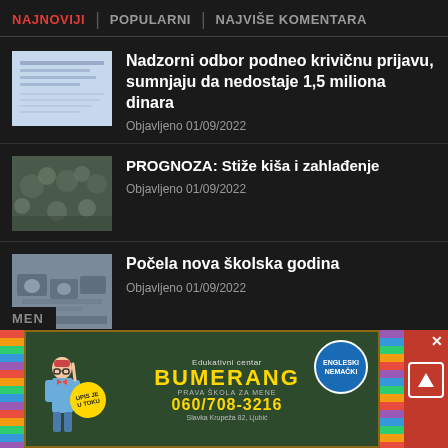NAJNOVIJI | POPULARNI | NAJVIŠE KOMENTARA
Nadzorni odbor podneo krivičnu prijavu, sumnjaju da nedostaje 1,5 miliona dinara
Objavljeno 01/09/2022
PROGNOZA: Stiže kiša i zahlađenje
Objavljeno 01/09/2022
Počela nova školska godina
Objavljeno 01/09/2022
[Figure (infographic): Advertisement banner for Edukativni centar Bumerang showing phone number 060/708-3216 and language courses ENGLESKI, NEMAČKI, address Slavka Krupeža 82, Ljubić]